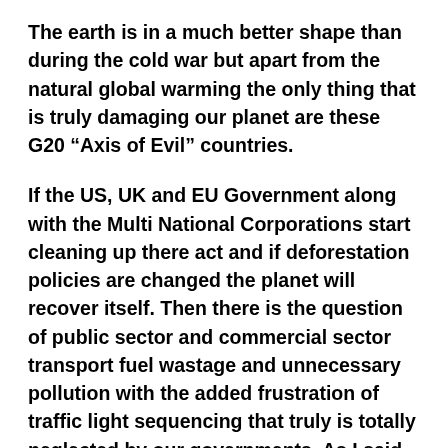The earth is in a much better shape than during the cold war but apart from the natural global warming the only thing that is truly damaging our planet are these G20 “Axis of Evil” countries.
If the US, UK and EU Government along with the Multi National Corporations start cleaning up there act and if deforestation policies are changed the planet will recover itself. Then there is the question of public sector and commercial sector transport fuel wastage and unnecessary pollution with the added frustration of traffic light sequencing that truly is totally neglected by our governments. As I said before if one multiplies this in every village, town and city the carbon footprint is beyond imagination. Add to this the fact that the beef industry continues to expand (thanks to the fast food industry), oil and mining